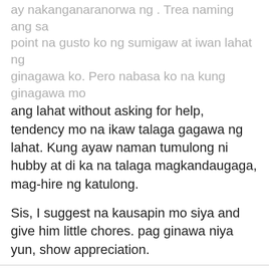ay nakanganaranorwa ng . Trea naming ang sa point na gusto ko ng sumigaw at iwan lahat ng ginagawa ko. Pero nabasa ko na kung ginagawa mo ang lahat without asking for help, tendency mo na ikaw talaga gagawa ng lahat. Kung ayaw naman tumulong ni hubby at di ka na talaga magkandaugaga, mag-hire ng katulong.
Sis, I suggest na kausapin mo siya and give him little chores. pag ginawa niya yun, show appreciation.
#34 by YANCY&SOPHIE'Snanay on 03 Jun, 2009 09:09
hi mommy yuri...
i think your husband needs to go back to the